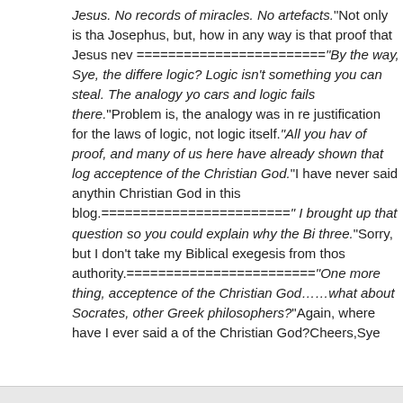Jesus. No records of miracles. No artefacts."Not only is that... Josephus, but, how in any way is that proof that Jesus nev... ======================="By the way, Sye, the differe... logic? Logic isn't something you can steal. The analogy yo... cars and logic fails there."Problem is, the analogy was in re... justification for the laws of logic, not logic itself."All you hav... of proof, and many of us here have already shown that log... acceptence of the Christian God."I have never said anythin... Christian God in this blog.========================"... I brought up that question so you could explain why the Bi... three."Sorry, but I don't take my Biblical exegesis from thos... authority.========================"One more thing, acceptence of the Christian God......what about Socrates, other Greek philosophers?"Again, where have I ever said a... of the Christian God?Cheers,Sye